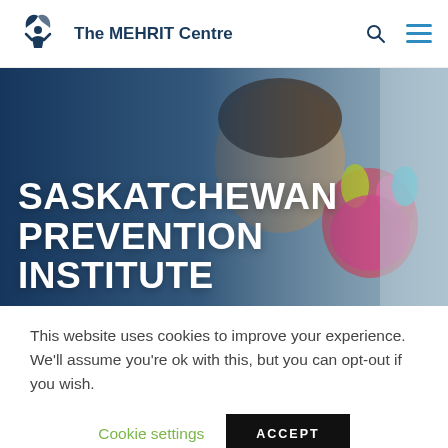[Figure (logo): The MEHRIT Centre logo with stylized human figure and leaf icon in dark navy blue, text reads 'The MEHRIT Centre']
SASKATCHEWAN PREVENTION INSTITUTE
[Figure (photo): Child with colorful painted hands held up, smiling, with dark blue gradient overlay on left side]
This website uses cookies to improve your experience. We'll assume you're ok with this, but you can opt-out if you wish.
Cookie settings
ACCEPT